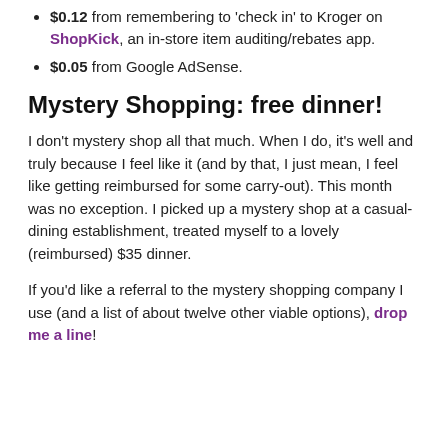$0.12 from remembering to 'check in' to Kroger on ShopKick, an in-store item auditing/rebates app.
$0.05 from Google AdSense.
Mystery Shopping: free dinner!
I don't mystery shop all that much. When I do, it's well and truly because I feel like it (and by that, I just mean, I feel like getting reimbursed for some carry-out). This month was no exception. I picked up a mystery shop at a casual-dining establishment, treated myself to a lovely (reimbursed) $35 dinner.
If you'd like a referral to the mystery shopping company I use (and a list of about twelve other viable options), drop me a line!